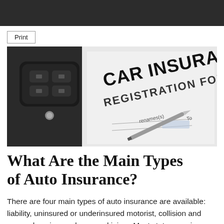[Figure (photo): A car key fob placed on top of a Car Insurance Registration Form with a pen resting on it]
What Are the Main Types of Auto Insurance?
There are four main types of auto insurance are available: liability, uninsured or underinsured motorist, collision and comprehensive, and personal injury. Most states require drivers to carry certain types of auto